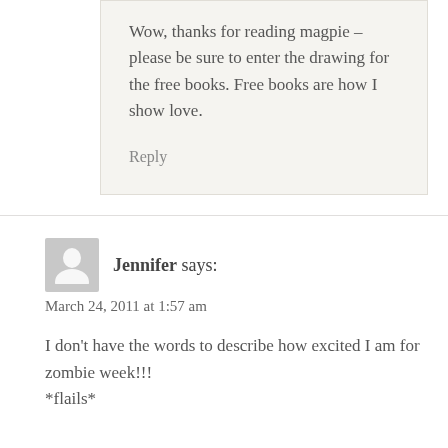Wow, thanks for reading magpie – please be sure to enter the drawing for the free books. Free books are how I show love.
Reply
Jennifer says:
March 24, 2011 at 1:57 am
I don't have the words to describe how excited I am for zombie week!!! *flails*